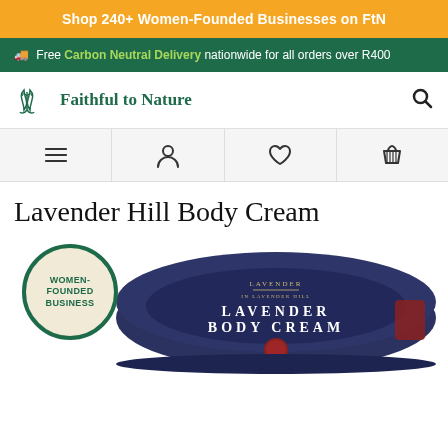Shop 240+ Women-Founded Businesses on FtN
Free Carbon Neutral Delivery nationwide for all orders over R400
[Figure (logo): Faithful to Nature logo — green plant/leaf icon with text 'Faithful to Nature']
[Figure (infographic): Navigation bar with four icons: hamburger menu, user/person, heart/wishlist, shopping basket]
Lavender Hill Body Cream
[Figure (photo): Product image of Lavender Hill Body Cream in a round dark navy tin with gold lettering 'LAVENDER BODY CREAM', overlaid with a 'Women-Founded Business' circle badge in green and cream.]